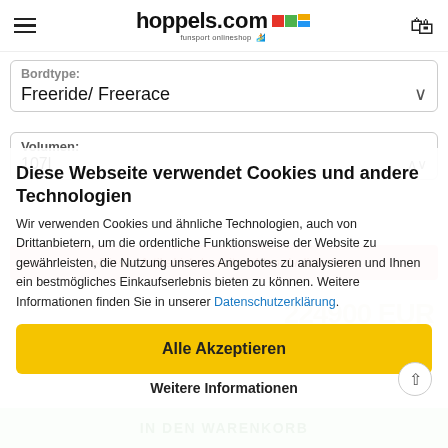hoppels.com funsport onlineshop
Bordtype: Freeride/ Freerace
Volumen: 107l
Diese Webseite verwendet Cookies und andere Technologien
Dieser Artikel ist derzeit nicht mehr lieferbar.
Wir verwenden Cookies und ähnliche Technologien, auch von Drittanbietern, um die ordentliche Funktionsweise der Website zu gewährleisten, die Nutzung unseres Angebotes zu analysieren und Ihnen ein bestmögliches Einkaufserlebnis bieten zu können. Weitere Informationen finden Sie in unserer Datenschutzerklärung.
Alle Akzeptieren
Weitere Informationen
IN DEN WARENKORB